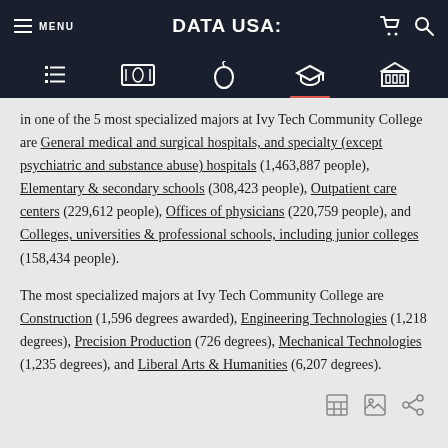MENU | DATA USA: [navigation icons]
in one of the 5 most specialized majors at Ivy Tech Community College are General medical and surgical hospitals, and specialty (except psychiatric and substance abuse) hospitals (1,463,887 people), Elementary & secondary schools (308,423 people), Outpatient care centers (229,612 people), Offices of physicians (220,759 people), and Colleges, universities & professional schools, including junior colleges (158,434 people).
The most specialized majors at Ivy Tech Community College are Construction (1,596 degrees awarded), Engineering Technologies (1,218 degrees), Precision Production (726 degrees), Mechanical Technologies (1,235 degrees), and Liberal Arts & Humanities (6,207 degrees).